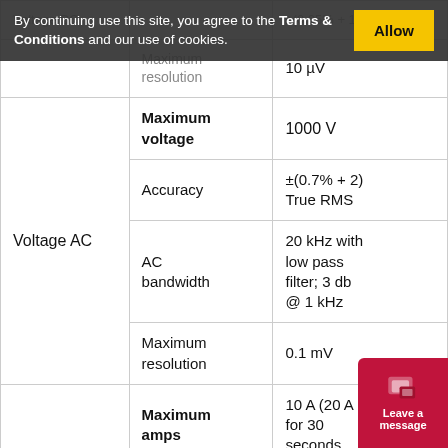| Category | Property | Value |
| --- | --- | --- |
| Voltage DC (partial) | ±(0.05% + 1) (partial) |  |
|  | Maximum resolution | 10 µV |
|  | Maximum voltage | 1000 V |
| Voltage AC | Accuracy | ±(0.7% + 2) True RMS |
| Voltage AC | AC bandwidth | 20 kHz with low pass filter; 3 db @ 1 kHz |
| Voltage AC | Maximum resolution | 0.1 mV |
|  | Maximum amps | 10 A (20 A for 30 seconds |